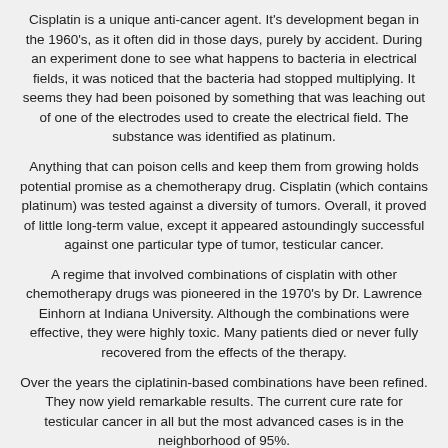Cisplatin is a unique anti-cancer agent. It's development began in the 1960's, as it often did in those days, purely by accident. During an experiment done to see what happens to bacteria in electrical fields, it was noticed that the bacteria had stopped multiplying. It seems they had been poisoned by something that was leaching out of one of the electrodes used to create the electrical field. The substance was identified as platinum.
Anything that can poison cells and keep them from growing holds potential promise as a chemotherapy drug. Cisplatin (which contains platinum) was tested against a diversity of tumors. Overall, it proved of little long-term value, except it appeared astoundingly successful against one particular type of tumor, testicular cancer.
A regime that involved combinations of cisplatin with other chemotherapy drugs was pioneered in the 1970's by Dr. Lawrence Einhorn at Indiana University. Although the combinations were effective, they were highly toxic. Many patients died or never fully recovered from the effects of the therapy.
Over the years the ciplatinin-based combinations have been refined. They now yield remarkable results. The current cure rate for testicular cancer in all but the most advanced cases is in the neighborhood of 95%.
Lance Armstrong had advanced disease with metastases to distant sites. Given the facts of his case, his chances for a cure were estimated at no better than 50%.